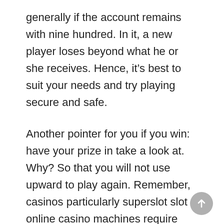generally if the account remains with nine hundred. In it, a new player loses beyond what he or she receives. Hence, it's best to suit your needs and try playing secure and safe.
Another pointer for you if you win: have your prize in take a look at. Why? So that you will not use upward to play again. Remember, casinos particularly superslot slot online casino machines require cash only.
Blackjack or 21 grow to be the easiest casino games to learn and be. The idea of the game is to get a hand closer to 21 as opposed to a dealer. When playing Blackjack, regardless